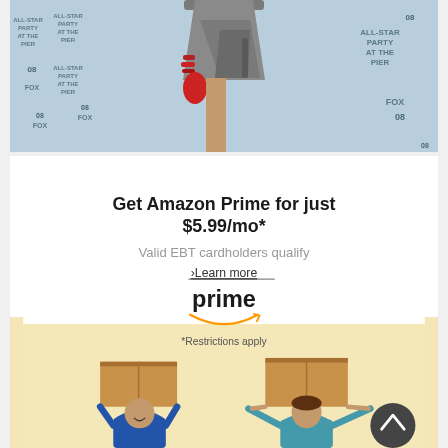[Figure (photo): A woman wearing a gray wrap dress with red accessories standing in front of a FOX 08 All-Star Party at the Pier event backdrop]
[Figure (infographic): Amazon Prime advertisement: 'Get Amazon Prime for just $5.99/mo* Valid EBT cardholders qualify > Learn more' with Amazon Prime logo, '*Restrictions apply' text, and two children holding Amazon boxes above their heads on a light yellow background, with a scroll-to-top button in the bottom right corner]